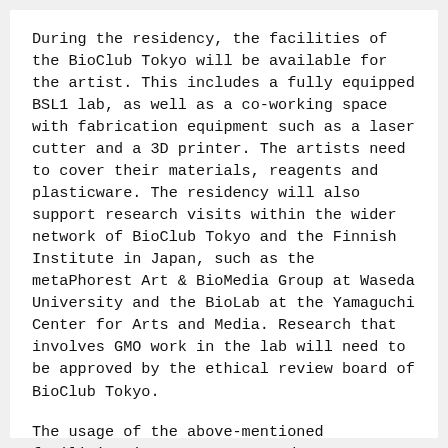During the residency, the facilities of the BioClub Tokyo will be available for the artist. This includes a fully equipped BSL1 lab, as well as a co-working space with fabrication equipment such as a laser cutter and a 3D printer. The artists need to cover their materials, reagents and plasticware. The residency will also support research visits within the wider network of BioClub Tokyo and the Finnish Institute in Japan, such as the metaPhorest Art & BioMedia Group at Waseda University and the BioLab at the Yamaguchi Center for Arts and Media. Research that involves GMO work in the lab will need to be approved by the ethical review board of BioClub Tokyo.
The usage of the above-mentioned facilities is not a must, and we encourage artists to also apply with research ideas beyond biology and life sciences. The aim of the residency is to establish an ongoing exchange of artists between Finland and Japan working within the art & science field.